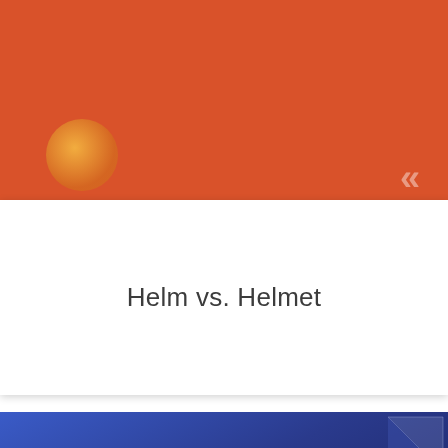[Figure (illustration): Orange/red background card with an orange circular gradient orb on the left and double chevron arrow on the right, representing a vocabulary flashcard app UI element]
Helm vs. Helmet
[Figure (illustration): Dark blue gradient background card with the text 'Trist vs. Tryst' in bold white, a paper-fold corner in top right, a circular icon at bottom left, and an orange scroll-up button at bottom right]